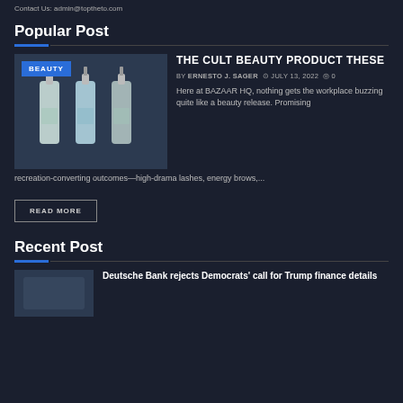Contact Us: admin@toptheto.com
Popular Post
[Figure (photo): Three serum/dropper bottles with BEAUTY badge overlay]
THE CULT BEAUTY PRODUCT THESE
BY ERNESTO J. SAGER   JULY 13, 2022   0
Here at BAZAAR HQ, nothing gets the workplace buzzing quite like a beauty release. Promising recreation-converting outcomes—high-drama lashes, energy brows,...
READ MORE
Recent Post
[Figure (photo): Small thumbnail image for recent post]
Deutsche Bank rejects Democrats' call for Trump finance details